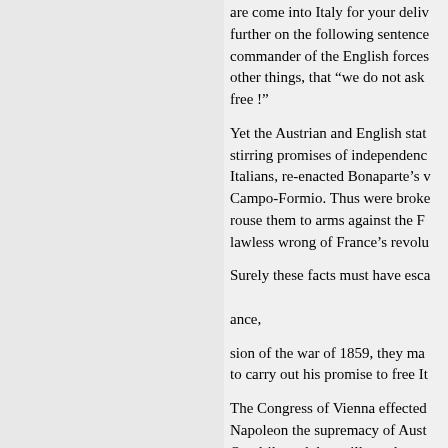are come into Italy for your deliv further on the following sentence commander of the English forces other things, that "we do not ask free !"
Yet the Austrian and English stat stirring promises of independence Italians, re-enacted Bonaparte's v Campo-Formio. Thus were broke rouse them to arms against the F lawless wrong of France's revolu
Surely these facts must have esca ance,
sion of the war of 1859, they ma to carry out his promise to free It
The Congress of Vienna effected Napoleon the supremacy of Aust Quadrilateral, her will was law to their powerful brethren of the Ho
Such was the result brought ab